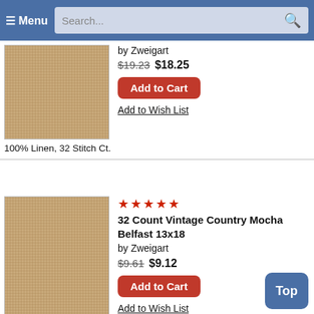☰ Menu  Search...
[Figure (photo): Beige linen fabric swatch, 100% Linen 32 stitch count]
by Zweigart
$19.23 $18.25
Add to Cart
Add to Wish List
100% Linen, 32 Stitch Ct.
[Figure (photo): Beige linen fabric swatch, 100% Linen 32 stitch count]
★★★★★
32 Count Vintage Country Mocha Belfast 13x18
by Zweigart
$9.61 $9.12
Add to Cart
Add to Wish List
100% Linen, 32 Stitch Ct.